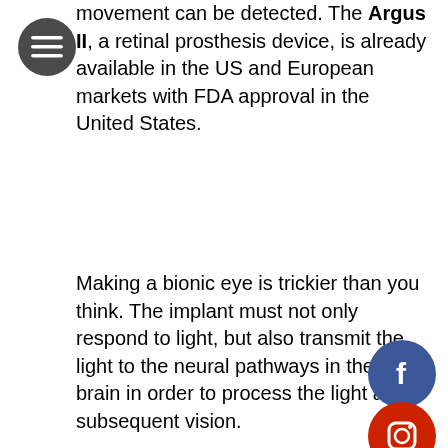movement can be detected. The Argus II, a retinal prosthesis device, is already available in the US and European markets with FDA approval in the United States.
Making a bionic eye is trickier than you think. The implant must not only respond to light, but also transmit the light to the neural pathways in the brain in order to process the light and subsequent vision.
The way our vision should work, is that light and images are processed through the, “film of the camera”, per se, called the retina. The retina relies on photoreceptors called rods and cones that take the visual image and transfer it through neural pathways to the brain, which interprets...